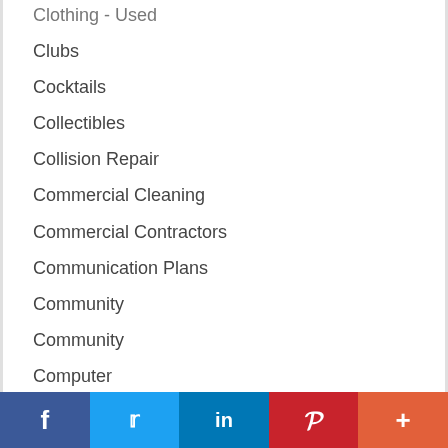Clothing - Used
Clubs
Cocktails
Collectibles
Collision Repair
Commercial Cleaning
Commercial Contractors
Communication Plans
Community
Community
Computer
Computer Help
Computer Services
Computer Software
f  Twitter  in  P  +